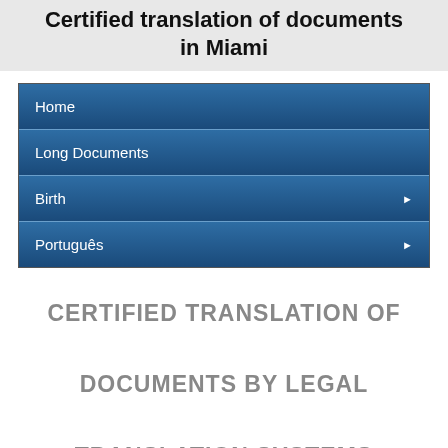Certified translation of documents in Miami
Home
Long Documents
Birth
Português
CERTIFIED TRANSLATION OF DOCUMENTS BY LEGAL TRANSLATION SYSTEMS FOR JACKSONVILLE CLIENTS